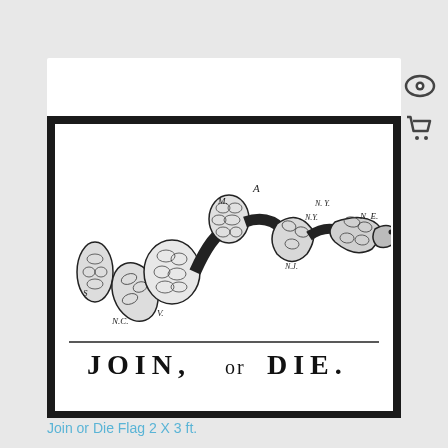[Figure (illustration): The historic 'Join, or Die' political cartoon by Benjamin Franklin showing a snake cut into segments labeled with colonial abbreviations (S, N.C., V., M., N.J., N.Y., N.E.) with the text 'JOIN, or DIE.' below a horizontal rule.]
Join or Die Flag 2 X 3 ft.